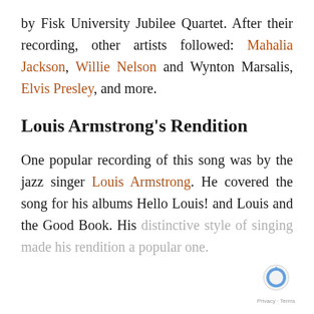by Fisk University Jubilee Quartet. After their recording, other artists followed: Mahalia Jackson, Willie Nelson and Wynton Marsalis, Elvis Presley, and more.
Louis Armstrong's Rendition
One popular recording of this song was by the jazz singer Louis Armstrong. He covered the song for his albums Hello Louis! and Louis and the Good Book. His distinctive style of singing made his rendition a popular one.